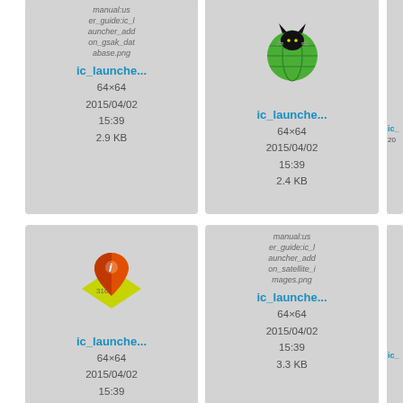[Figure (screenshot): Grid of image file thumbnails showing launcher icons with filenames, dimensions, dates, and file sizes. Top row: ic_launcher_addon_gsak_database.png (64x64, 2015/04/02 15:39, 2.9 KB), ic_launcher (cat+globe icon, 64x64, 2015/04/02 15:39, 2.4 KB), ic_ (partially visible). Middle row: ic_launcher (geocaching map pin icon, 64x64, 2015/04/02 15:39, 2.3 KB), ic_launcher_addon_satellite_images.png (64x64, 2015/04/02 15:39, 3.3 KB), ic_ (partially visible). Bottom row: partially visible thumbnails.]